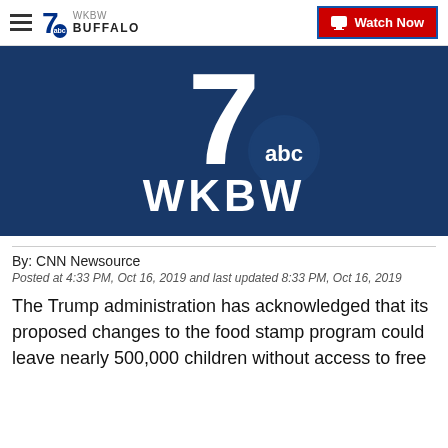7 ABC BUFFALO | Watch Now
[Figure (logo): WKBW 7 ABC station logo on dark blue background with large white numeral 7, abc circle logo, and WKBW text]
By: CNN Newsource
Posted at 4:33 PM, Oct 16, 2019 and last updated 8:33 PM, Oct 16, 2019
The Trump administration has acknowledged that its proposed changes to the food stamp program could leave nearly 500,000 children without access to free